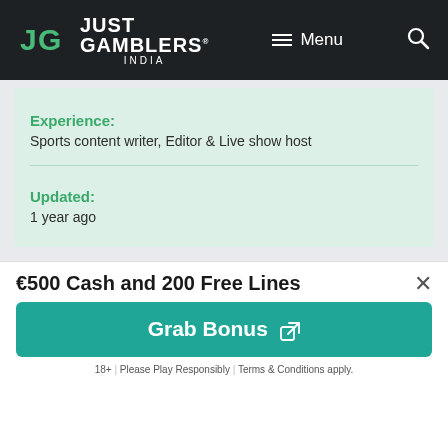JG JUST GAMBLERS® INDIA  Menu  🔍
Experience:
Sports content writer, Editor & Live show host
Updated:
1 year ago
Desktop   Tablet
€500 Cash and 200 Free Lines
Grab Bonus ↗
18+ | Please Play Responsibly | Terms & Conditions apply.